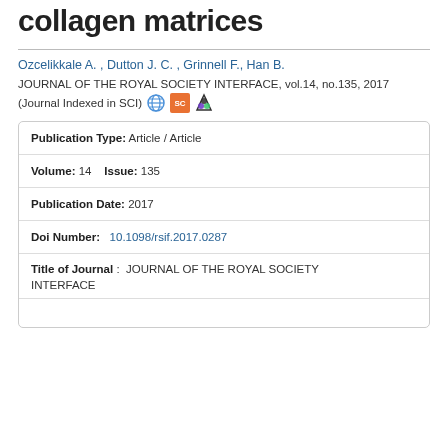collagen matrices
Ozcelikkale A. , Dutton J. C. , Grinnell F., Han B.
JOURNAL OF THE ROYAL SOCIETY INTERFACE, vol.14, no.135, 2017
(Journal Indexed in SCI)
| Publication Type: | Article / Article |
| Volume: 14   Issue: | 135 |
| Publication Date: | 2017 |
| Doi Number: | 10.1098/rsif.2017.0287 |
| Title of Journal: | JOURNAL OF THE ROYAL SOCIETY INTERFACE |
|  |  |